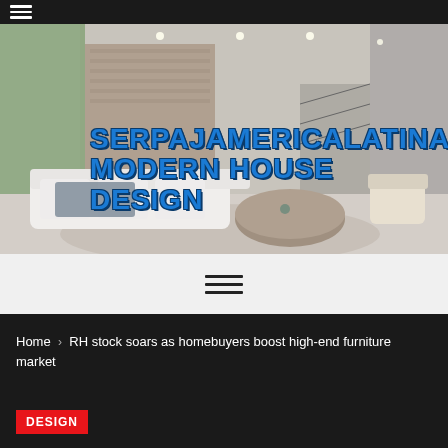SERPAJAMERICALATINA MODERN HOUSE DESIGN
[Figure (photo): Interior of a modern luxury living room with large sectional white sofa, round wooden coffee table, recessed lighting, floor-to-ceiling windows, and an open staircase in the background. Text overlay reads 'SERPAJAMERICALATINA MODERN HOUSE DESIGN' in blue bold lettering.]
≡ (hamburger menu icon)
Home > RH stock soars as homebuyers boost high-end furniture market
DESIGN